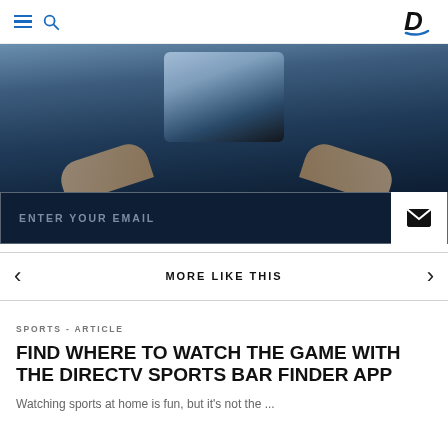Navigation bar with hamburger menu, search icon, and DIRECTV logo
[Figure (photo): Hero image showing hands holding a smartphone against a dark blue background, with an email subscription form overlay at the bottom reading ENTER YOUR EMAIL with an envelope/submit button]
MORE LIKE THIS
SPORTS - ARTICLE
FIND WHERE TO WATCH THE GAME WITH THE DIRECTV SPORTS BAR FINDER APP
Watching sports at home is fun, but it's not the ...